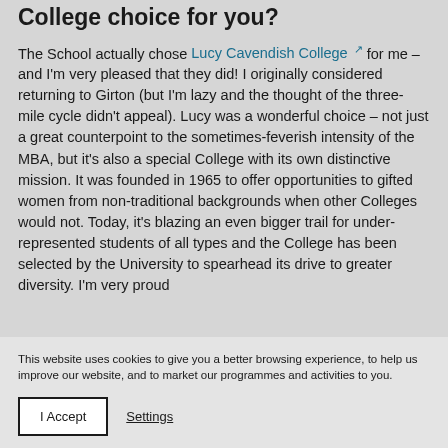College choice for you?
The School actually chose Lucy Cavendish College for me – and I'm very pleased that they did! I originally considered returning to Girton (but I'm lazy and the thought of the three-mile cycle didn't appeal). Lucy was a wonderful choice – not just a great counterpoint to the sometimes-feverish intensity of the MBA, but it's also a special College with its own distinctive mission. It was founded in 1965 to offer opportunities to gifted women from non-traditional backgrounds when other Colleges would not. Today, it's blazing an even bigger trail for under-represented students of all types and the College has been selected by the University to spearhead its drive to greater diversity. I'm very proud
This website uses cookies to give you a better browsing experience, to help us improve our website, and to market our programmes and activities to you.
I Accept | Settings